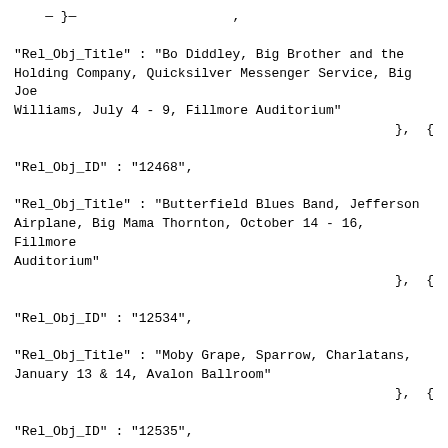"Rel_Obj_Title" : "Bo Diddley, Big Brother and the Holding Company, Quicksilver Messenger Service, Big Joe Williams, July 4 - 9, Fillmore Auditorium"
},{
"Rel_Obj_ID" : "12468",

"Rel_Obj_Title" : "Butterfield Blues Band, Jefferson Airplane, Big Mama Thornton, October 14 - 16, Fillmore Auditorium"
},{
"Rel_Obj_ID" : "12534",

"Rel_Obj_Title" : "Moby Grape, Sparrow, Charlatans, January 13 &amp; 14, Avalon Ballroom"
},{
"Rel_Obj_ID" : "12535",

"Rel_Obj_Title" : "Lenny Bruce, The Mothers, June 24 &amp; 25, Fillmore Auditorium"
},{
"Rel_Obj_ID" : "12536",

"Rel_Obj_Title" : "Big Brother &amp; the Holding Company, Quicksilver Messenger Service, Oxford Circle, February 17 &amp; 18, Avalon Ballroom"